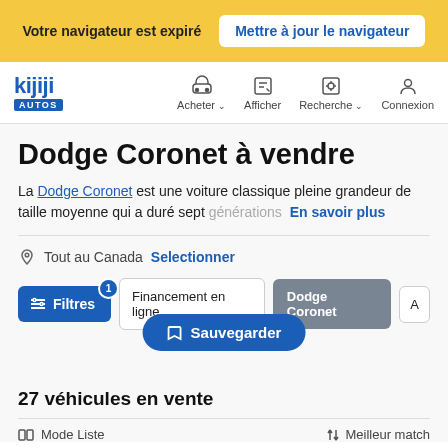Votre navigateur est expiré  Mettre à jour le navigateur
[Figure (screenshot): Kijiji Autos navigation bar with logo and icons for Acheter, Afficher, Recherche, Connexion]
Dodge Coronet à vendre
La Dodge Coronet est une voiture classique pleine grandeur de taille moyenne qui a duré sept générations  En savoir plus
Tout au Canada  Selectionner
Filtres  Financement en ligne  Dodge Coronet  A
Sauvegarder
27 véhicules en vente
Mode Liste   Meilleur match